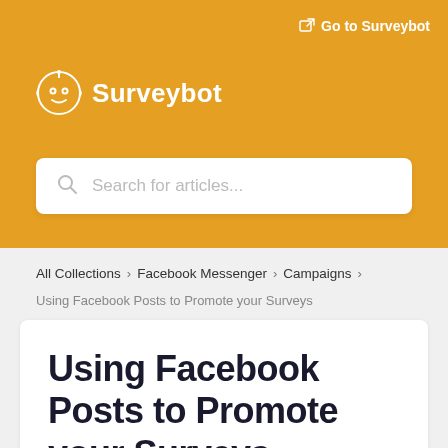Go to Surveybot
[Figure (logo): Surveybot logo with robot icon and text 'Surveybot' in white]
Search for articles...
All Collections > Facebook Messenger > Campaigns
Using Facebook Posts to Promote your Surveys
Using Facebook Posts to Promote your Surveys
Written by Liam
Updated over a week ago